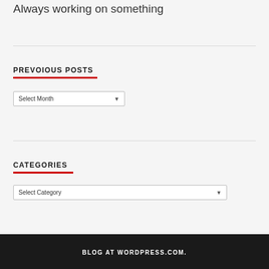Always working on something
PREVOIOUS POSTS
Select Month
CATEGORIES
Select Category
BLOG AT WORDPRESS.COM.